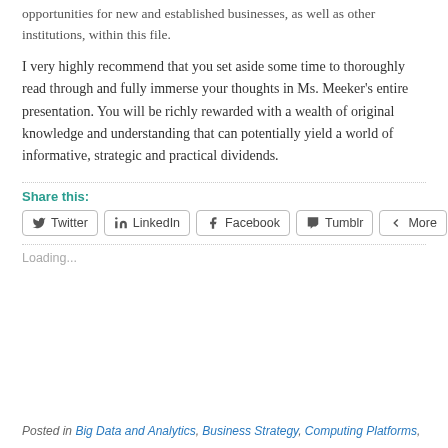opportunities for new and established businesses, as well as other institutions, within this file.
I very highly recommend that you set aside some time to thoroughly read through and fully immerse your thoughts in Ms. Meeker’s entire presentation. You will be richly rewarded with a wealth of original knowledge and understanding that can potentially yield a world of informative, strategic and practical dividends.
Share this:
[Figure (other): Social share buttons: Twitter, LinkedIn, Facebook, Tumblr, More]
Loading...
Posted in Big Data and Analytics, Business Strategy, Computing Platforms,